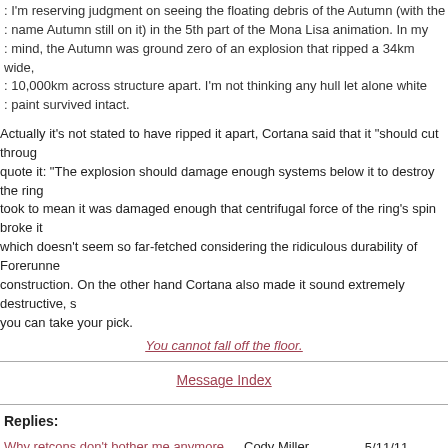: I'm reserving judgment on seeing the floating debris of the Autumn (with the : name Autumn still on it) in the 5th part of the Mona Lisa animation. In my : mind, the Autumn was ground zero of an explosion that ripped a 34km wide, : 10,000km across structure apart. I'm not thinking any hull let alone white : paint survived intact.
Actually it's not stated to have ripped it apart, Cortana said that it "should cut through... quote it: "The explosion should damage enough systems below it to destroy the ring." I took to mean it was damaged enough that centrifugal force of the ring's spin broke it... which doesn't seem so far-fetched considering the ridiculous durability of Forerunner construction. On the other hand Cortana also made it sound extremely destructive, so you can take your pick.
You cannot fall off the floor.
Message Index
Replies:
Why retcons don't bother me anymore — Cody Miller — 5/11/11 6:11 p.m.
Re: Why retcons don't bother me anymore — Frankie — 5/11/11 6:16 p.m.